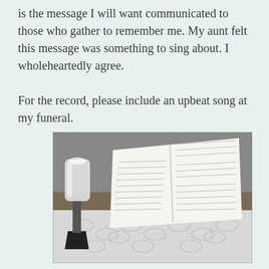is the message I will want communicated to those who gather to remember me. My aunt felt this message was something to sing about. I wholeheartedly agree.

For the record, please include an upbeat song at my funeral.
[Figure (photo): Black and white photograph of an open Bible or book resting on a lace tablecloth, with a candle lamp on the left side.]